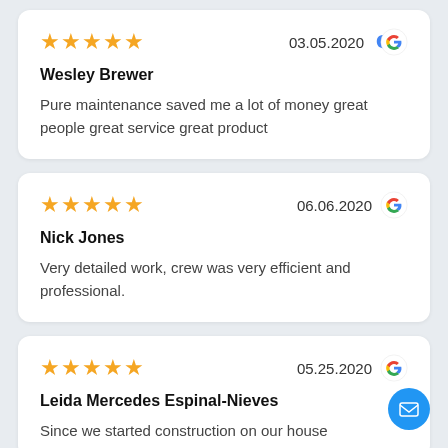★★★★★  03.05.2020  G
Wesley Brewer
Pure maintenance saved me a lot of money great people great service great product
★★★★★  06.06.2020  G
Nick Jones
Very detailed work, crew was very efficient and professional.
★★★★★  05.25.2020  G
Leida Mercedes Espinal-Nieves
Since we started construction on our house